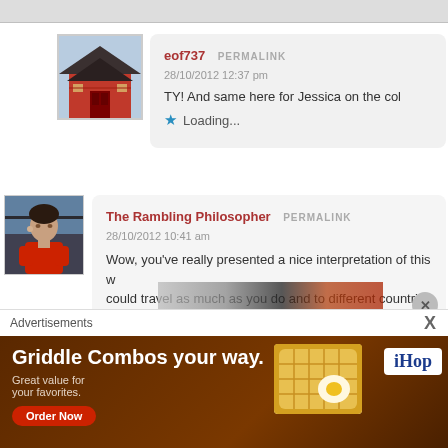[Figure (screenshot): Top gray navigation/header bar of a website]
[Figure (photo): Avatar image of a Japanese shrine with red gate]
eof737  PERMALINK
28/10/2012 12:37 pm
TY! And same here for Jessica on the col
Loading...
[Figure (photo): Avatar of a person wearing red top]
The Rambling Philosopher  PERMALINK
28/10/2012 10:41 am
Wow, you've really presented a nice interpretation of this w... could travel as much as you do and to different countries to... motivation to save up enough money for travel. 😐 Le...
Advertisements
[Figure (screenshot): IHOP advertisement: Griddle Combos your way. Great value for your favorites. Order Now button. iHOP logo.]